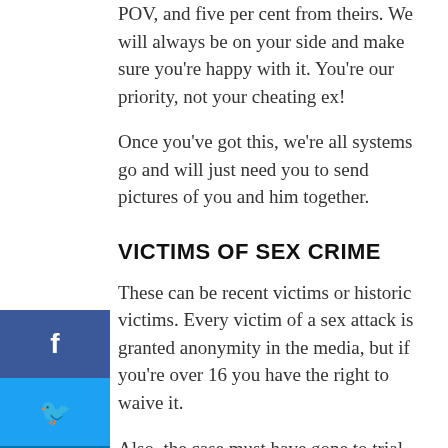POV, and five per cent from theirs. We will always be on your side and make sure you're happy with it. You're our priority, not your cheating ex!
Once you've got this, we're all systems go and will just need you to send pictures of you and him together.
VICTIMS OF SEX CRIME
These can be recent victims or historic victims. Every victim of a sex attack is granted anonymity in the media, but if you're over 16 you have the right to waive it.
Also, the case must have gone to trial and the perpetrator must have been convicted for the crime.